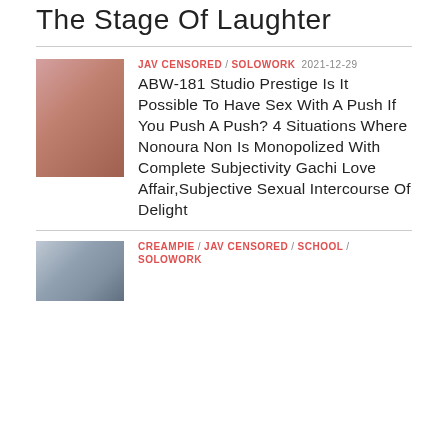The Stage Of Laughter
JAV CENSORED / SOLOWORK 2021-12-29
ABW-181 Studio Prestige Is It Possible To Have Sex With A Push If You Push A Push? 4 Situations Where Nonoura Non Is Monopolized With Complete Subjectivity Gachi Love Affair,Subjective Sexual Intercourse Of Delight
[Figure (photo): Thumbnail image of ABW-181]
CREAMPIE / JAV CENSORED / SCHOOL / SOLOWORK
[Figure (photo): Thumbnail image of second entry]